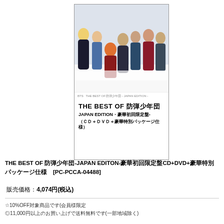[Figure (photo): BTS album cover photo showing 7 members posed on a white surface, with album title overlay: THE BEST OF 防弾少年団 JAPAN EDITION]
THE BEST OF 防弾少年団
JAPAN EDITION・豪華初回限定盤-
（ＣＤ＋ＤＶＤ＋豪華特別パッケージ仕様）
THE BEST OF 防弾少年団-JAPAN EDITON-豪華初回限定盤CD+DVD+豪華特別パッケージ仕様 [PC-PCCA-04488]
販売価格：4,074円(税込)
☆10%OFF対象商品です(会員様限定
◎11,000円以上のお買い上げで送料無料です(一部地域除く)